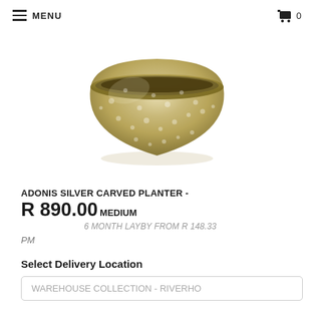MENU  0
[Figure (photo): A round, wide, hammered silver/gold metallic decorative planter bowl on a white background.]
ADONIS SILVER CARVED PLANTER -
R 890.00 MEDIUM
6 MONTH LAYBY FROM R 148.33
PM
Select Delivery Location
WAREHOUSE COLLECTION - RIVERHO